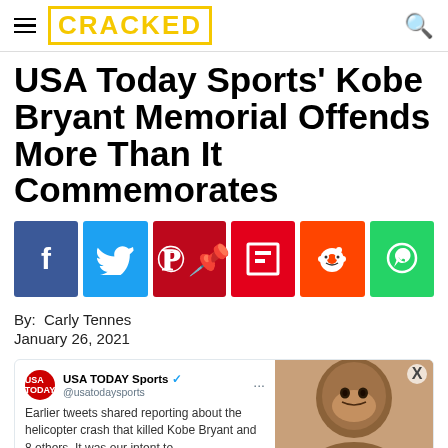CRACKED
USA Today Sports' Kobe Bryant Memorial Offends More Than It Commemorates
[Figure (infographic): Social media share buttons: Facebook (blue), Twitter (light blue), Pinterest (dark red), Flipboard (red), Reddit (orange-red), WhatsApp (green)]
By:  Carly Tennes
January 26, 2021
[Figure (screenshot): USA TODAY Sports tweet: 'Earlier tweets shared reporting about the helicopter crash that killed Kobe Bryant and 8 others. It was our intent to' alongside a photo of Kobe Bryant]